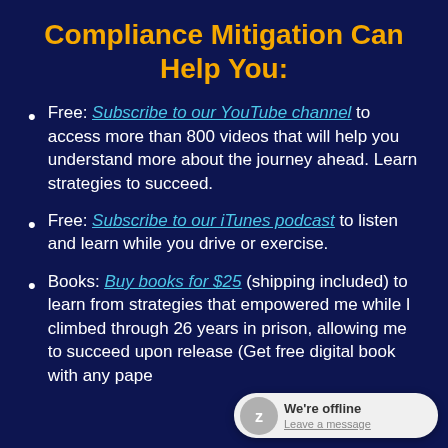Compliance Mitigation Can Help You:
Free: Subscribe to our YouTube channel to access more than 800 videos that will help you understand more about the journey ahead. Learn strategies to succeed.
Free: Subscribe to our iTunes podcast to listen and learn while you drive or exercise.
Books: Buy books for $25 (shipping included) to learn from strategies that empowered me while I climbed through 26 years in prison, allowing me to succeed upon release (Get free digital book with any pape...